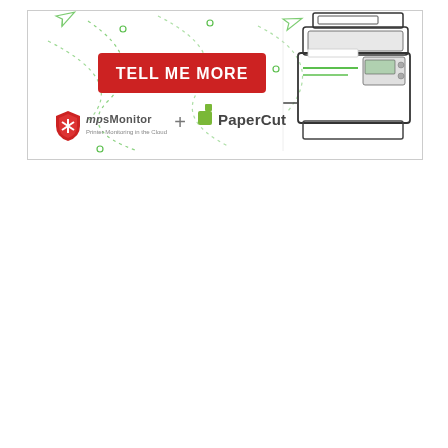[Figure (illustration): Promotional banner for MPS Monitor + PaperCut integration. White background with green dotted decorative lines and paper airplane icons. Left side has a red rounded-rectangle button with white bold text 'TELL ME MORE'. Bottom left shows the MPS Monitor logo (red shield icon with 'MPS Monitor' text and 'Printer Monitoring in the Cloud' subtitle) plus a '+' sign, followed by PaperCut logo with green square icon and dark 'PaperCut' text. Right side features an illustrated multifunction printer/copier in grey and black.]